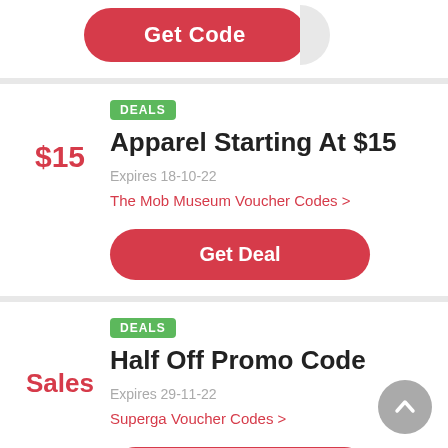[Figure (screenshot): Partial top card showing a red 'Get Code' button]
DEALS
Apparel Starting At $15
$15
Expires 18-10-22
The Mob Museum Voucher Codes >
Get Deal
DEALS
Half Off Promo Code
Sales
Expires 29-11-22
Superga Voucher Codes >
Get Deal